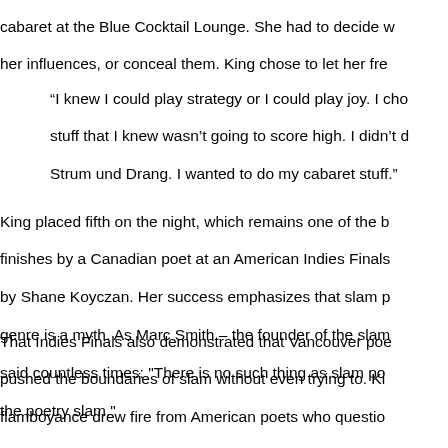cabaret at the Blue Cocktail Lounge. She had to decide whether to reveal her influences, or conceal them. King chose to let her fre...
“I knew I could play strategy or I could play joy. I cho... stuff that I knew wasn’t going to score high. I didn’t d... Strum und Drang. I wanted to do my cabaret stuff.”
King placed fifth on the night, which remains one of the b... finishes by a Canadian poet at an American Indies Finals... by Shane Koyczan. Her success emphasizes that slam p... genre is a myth. As Marc Smith – the founder of the slam... said countless times: "There is no such thing as slam po... the poetry slam."
That Indies Finals also demonstrated that Vancouver poe... pushed the boundaries of slam without even trying to. Ki... flamboyance drew fire from American poets who questio... 1960s sequined cocktail dress was a costume, which wo... rules and subject her to at least a two point deduction, a... elimination. The Svelte Ms. Spelt, who was on his first te... cross-dressed and drew similar allegations. He defended... that this was actually just how they dressed on a regular... remembers “You could go over to Cass’ for a burger and... door in an evening gown”). Eventually the protests fell fla... Spelt’s experience caused them to become more involve...